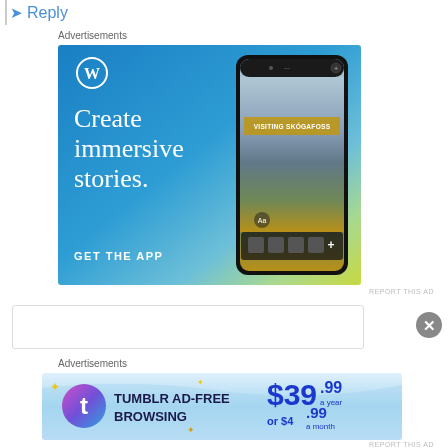Reply
Advertisements
[Figure (illustration): WordPress ad: blue-to-yellow gradient background with WordPress logo (W in circle), text 'Create immersive stories.' and 'GET THE APP', and a phone mockup showing a travel blog post titled 'VISITING SKOGAFOSS']
REPORT THIS AD
Advertisements
[Figure (illustration): Tumblr ad-free browsing banner ad showing Tumblr logo, text 'TUMBLR AD-FREE BROWSING' and pricing '$39.99 a year or $4.99 a month']